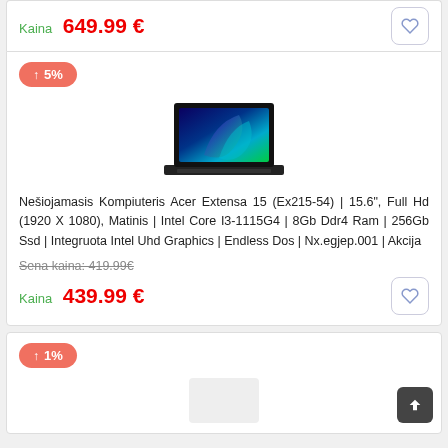Kaina  649.99 €
↑ 5%
[Figure (photo): Acer Extensa 15 laptop product photo on white background]
Nešiojamasis Kompiuteris Acer Extensa 15 (Ex215-54) | 15.6", Full Hd (1920 X 1080), Matinis | Intel Core I3-1115G4 | 8Gb Ddr4 Ram | 256Gb Ssd | Integruota Intel Uhd Graphics | Endless Dos | Nx.egjep.001 | Akcija
Sena kaina: 419.99€
Kaina  439.99 €
↑ 1%